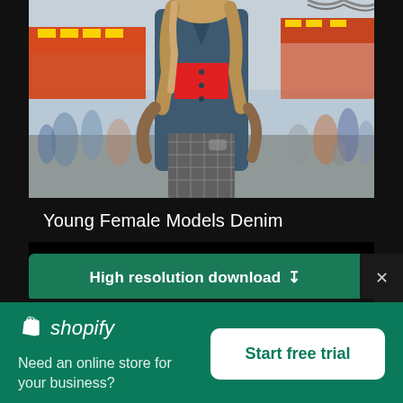[Figure (photo): Young woman in denim jacket and red crop top at a fairground/carnival, with blurred crowd in background]
Young Female Models Denim
High resolution download ↓
[Figure (logo): Shopify logo with shopping bag icon and italic 'shopify' wordmark in white on green background]
Need an online store for your business?
Start free trial